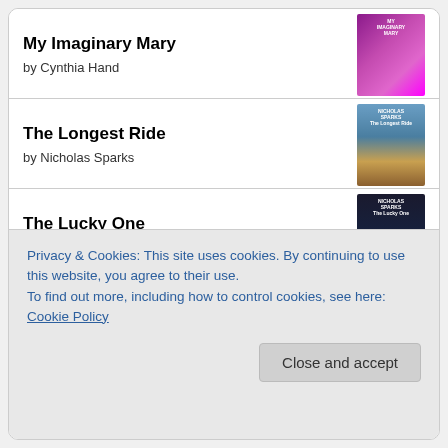My Imaginary Mary by Cynthia Hand
The Longest Ride by Nicholas Sparks
The Lucky One by Nicholas Sparks
Safe Haven by Nicholas Sparks
Privacy & Cookies: This site uses cookies. By continuing to use this website, you agree to their use.
To find out more, including how to control cookies, see here: Cookie Policy
Close and accept